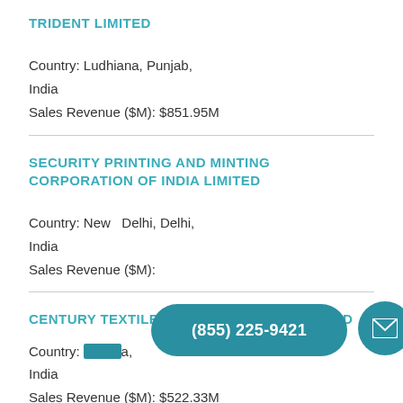TRIDENT LIMITED
Country: Ludhiana, Punjab, India
Sales Revenue ($M): $851.95M
SECURITY PRINTING AND MINTING CORPORATION OF INDIA LIMITED
Country: New   Delhi, Delhi, India
Sales Revenue ($M):
CENTURY TEXTILES AND INDUSTRIES LIMITED
Country: [obscured], India
Sales Revenue ($M): $522.33M